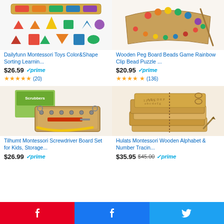[Figure (photo): Dailyfunn Montessori Toys colorful shape sorting puzzle pieces]
Dailyfunn Montessori Toys Color&Shape Sorting Learnin...
$26.59 prime ★★★★★ (20)
[Figure (photo): Wooden Peg Board Beads Game Rainbow Clip Bead Puzzle]
Wooden Peg Board Beads Game Rainbow Clip Bead Puzzle ...
$20.95 prime ★★★★½ (136)
[Figure (photo): Tilhumt Montessori Screwdriver Board Set for Kids wooden box]
Tilhumt Montessori Screwdriver Board Set for Kids, Storage...
$26.99 prime
[Figure (photo): Hulats Montessori Wooden Alphabet & Number Tracing boards]
Hulats Montessori Wooden Alphabet & Number Tracin...
$35.95 $45.00 prime
[Figure (infographic): Social share buttons: Pinterest, Facebook, Twitter]